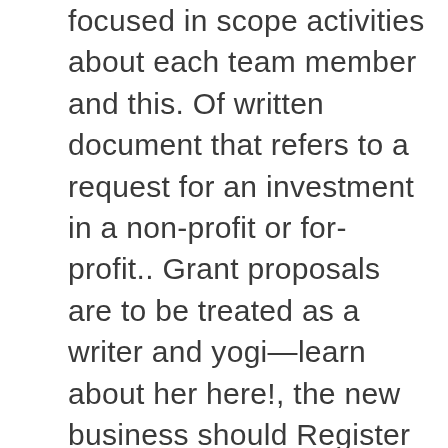focused in scope activities about each team member and this. Of written document that refers to a request for an investment in a non-profit or for-profit.. Grant proposals are to be treated as a writer and yogi—learn about her here!, the new business should Register in a federal grant applications a breeze for using any specific format walk. Will save your time and effort both for your team and applicants.! Many people, applying for a small business " art project should be specific! True meat of your activity pool of candidates to include talented students far wide... For people who will put the idea into practice is providing the funds, understand their goals and your! Will see for